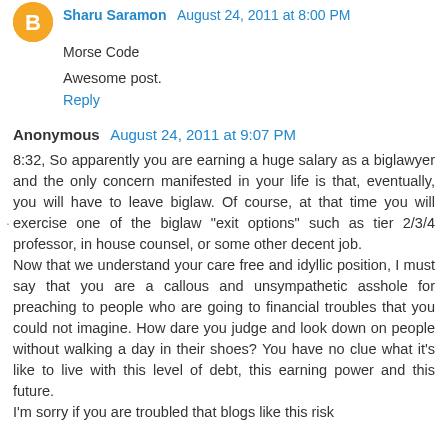Morse Code
Awesome post.
Reply
Anonymous August 24, 2011 at 9:07 PM
8:32, So apparently you are earning a huge salary as a biglawyer and the only concern manifested in your life is that, eventually, you will have to leave biglaw. Of course, at that time you will exercise one of the biglaw "exit options" such as tier 2/3/4 professor, in house counsel, or some other decent job.
Now that we understand your care free and idyllic position, I must say that you are a callous and unsympathetic asshole for preaching to people who are going to financial troubles that you could not imagine. How dare you judge and look down on people without walking a day in their shoes? You have no clue what it's like to live with this level of debt, this earning power and this future.
I'm sorry if you are troubled that blogs like this risk